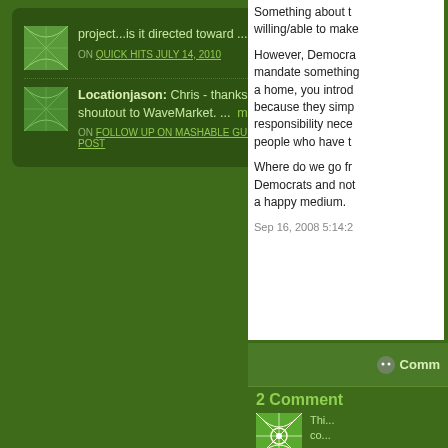project...is it directed toward ... more »
ON QUICK HITS JULY 14, 2010
Locationjason: Chris - thanks for the shoutout to WaveMarket. ... more »
ON FOLLOW UP ON MASHABLE GUEST POST
Something about t... willing/able to make...
However, Democra... mandate something... a home, you introd... because they simp... responsibility nece... people who have t...
Where do we go fr... Democrats and no... a happy medium.
Sep 16, 2008 5:14:2...
Comm
2 Comment
Thi... co...